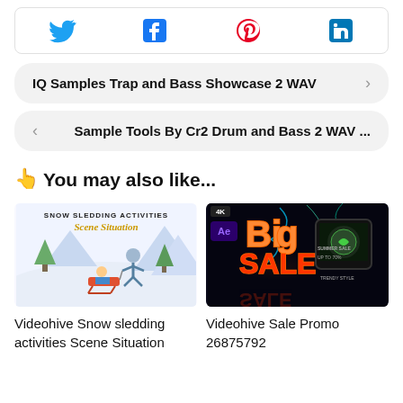[Figure (other): Social media share icons: Twitter (blue bird), Facebook (blue F), Pinterest (red P), LinkedIn (blue in)]
IQ Samples Trap and Bass Showcase 2 WAV  >
< Sample Tools By Cr2 Drum and Bass 2 WAV ...
👆 You may also like...
[Figure (illustration): Snow sledding activities scene situation – illustration showing a person pulling a child on a sled in a snowy scene with trees]
[Figure (screenshot): Videohive Sale Promo 26875792 – dark neon glowing Big Sale promo template thumbnail with 4K and After Effects logos]
Videohive Snow sledding activities Scene Situation
Videohive Sale Promo 26875792